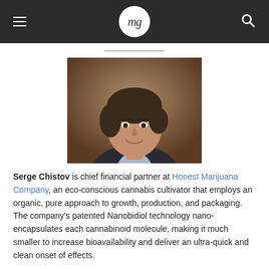mg
[Figure (photo): Professional headshot of Serge Chistov, a middle-aged man with dark hair wearing a dark blazer, smiling against a muted brown background.]
Serge Chistov is chief financial partner at Honest Marijuana Company, an eco-conscious cannabis cultivator that employs an organic, pure approach to growth, production, and packaging. The company's patented Nanobidiol technology nano-encapsulates each cannabinoid molecule, making it much smaller to increase bioavailability and deliver an ultra-quick and clean onset of effects.